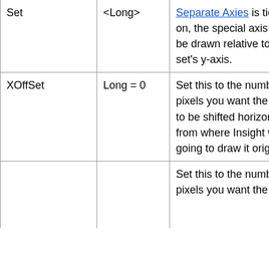| Set | <Long> | Separate Axies is ticked on, the special axis will be drawn relative to this set's y-axis. |
| XOffSet | Long = 0 | Set this to the number of pixels you want the label to be shifted horizontally from where Insight was going to draw it originally. |
|  |  | Set this to the number of pixels you want the label |